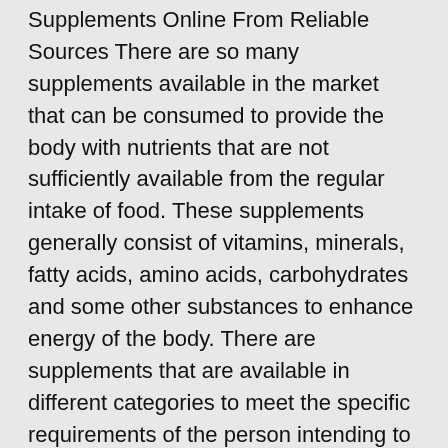Supplements Online From Reliable Sources There are so many supplements available in the market that can be consumed to provide the body with nutrients that are not sufficiently available from the regular intake of food. These supplements generally consist of vitamins, minerals, fatty acids, amino acids, carbohydrates and some other substances to enhance energy of the body. There are supplements that are available in different categories to meet the specific requirements of the person intending to use these supplements. They can be used for building body, losing weight, sports supplements for fitness and so on. However, before one buy supplements online they should be sure about the authenticity of these products being offered by the stores for best results. 6 Good To Know Facts About Vitamin B12 Vitamin B12, also known as cobalamin, is one of the B complex vitamins. You need it for several processes in your body, and not having enough of it poses a serious threat to your health. Despite its